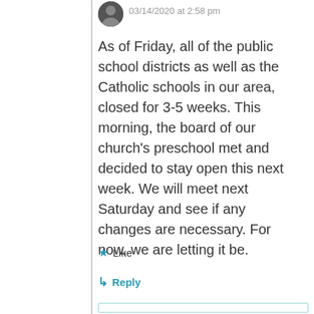03/14/2020 at 2:58 pm
As of Friday, all of the public school districts as well as the Catholic schools in our area, closed for 3-5 weeks. This morning, the board of our church's preschool met and decided to stay open this next week. We will meet next Saturday and see if any changes are necessary. For now, we are letting it be.
★ Like
↳ Reply